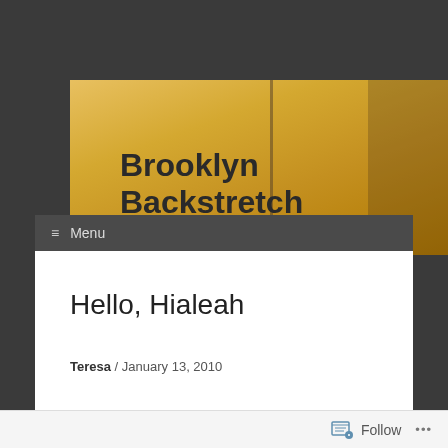[Figure (photo): Blog header banner with golden/amber warm sky background and vertical pole silhouette]
Brooklyn Backstretch
Reports and reflections on (mostly) New York racing
≡ Menu
Hello, Hialeah
Teresa / January 13, 2010
[Figure (photo): Partial photo of what appears to be a racetrack or outdoor scene with green foliage and a red and white post]
Follow ...